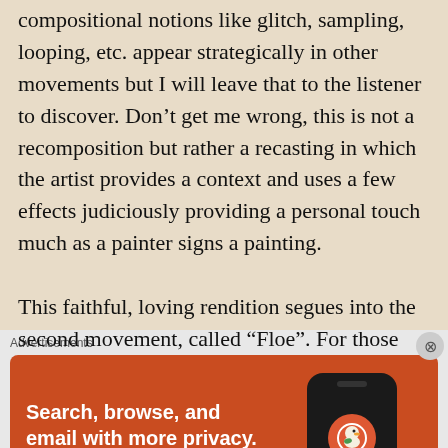compositional notions like glitch, sampling, looping, etc. appear strategically in other movements but I will leave that to the listener to discover. Don't get me wrong, this is not a recomposition but rather a recasting in which the artist provides a context and uses a few effects judiciously providing a personal touch much as a painter signs a painting.

This faithful, loving rendition segues into the second movement, called “Floe”. For those who have heard Glass’ ensemble do this live (as I did in 1980) you will likely feel nostalgia.
Advertisements
[Figure (other): DuckDuckGo advertisement banner with orange background. Text reads: 'Search, browse, and email with more privacy. All in One Free App'. Shows a smartphone mockup with DuckDuckGo logo and wordmark.]